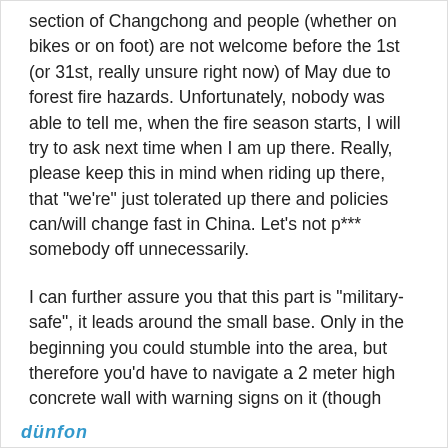section of Changchong and people (whether on bikes or on foot) are not welcome before the 1st (or 31st, really unsure right now) of May due to forest fire hazards. Unfortunately, nobody was able to tell me, when the fire season starts, I will try to ask next time when I am up there. Really, please keep this in mind when riding up there, that "we're" just tolerated up there and policies can/will change fast in China. Let's not p*** somebody off unnecessarily.
I can further assure you that this part is "military-safe", it leads around the small base. Only in the beginning you could stumble into the area, but therefore you'd have to navigate a 2 meter high concrete wall with warning signs on it (though there is a small path around it).
dünfon